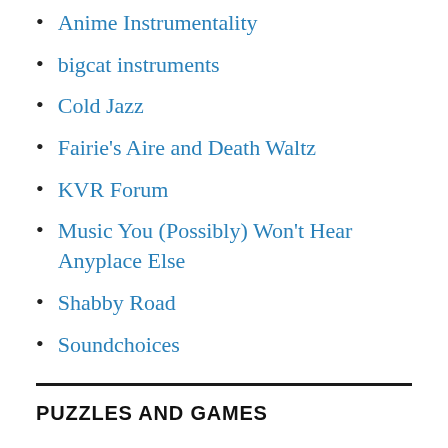Anime Instrumentality
bigcat instruments
Cold Jazz
Fairie's Aire and Death Waltz
KVR Forum
Music You (Possibly) Won't Hear Anyplace Else
Shabby Road
Soundchoices
PUZZLES AND GAMES
Chess and Music
Chessgames.com
Jigsaw puzzles